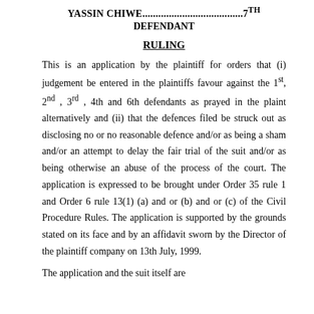YASSIN CHIWE.......................................7TH DEFENDANT
RULING
This is an application by the plaintiff for orders that (i) judgement be entered in the plaintiffs favour against the 1st, 2nd, 3rd, 4th and 6th defendants as prayed in the plaint alternatively and (ii) that the defences filed be struck out as disclosing no or no reasonable defence and/or as being a sham and/or an attempt to delay the fair trial of the suit and/or as being otherwise an abuse of the process of the court. The application is expressed to be brought under Order 35 rule 1 and Order 6 rule 13(1) (a) and or (b) and or (c) of the Civil Procedure Rules. The application is supported by the grounds stated on its face and by an affidavit sworn by the Director of the plaintiff company on 13th July, 1999.
The application and the suit itself are